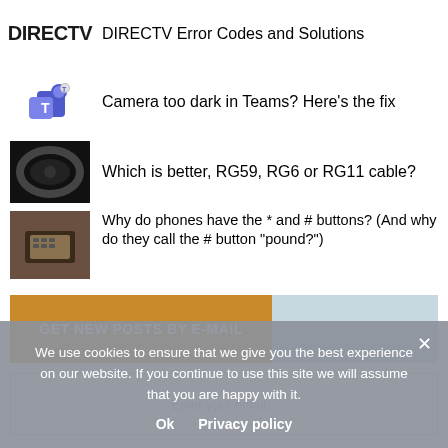DIRECTV Error Codes and Solutions
Camera too dark in Teams? Here’s the fix
Which is better, RG59, RG6 or RG11 cable?
Why do phones have the * and # buttons? (And why do they call the # button “pound?”)
GET NEW POSTS BY E-MAIL
We use cookies to ensure that we give you the best experience on our website. If you continue to use this site we will assume that you are happy with it.
Ok   Privacy policy